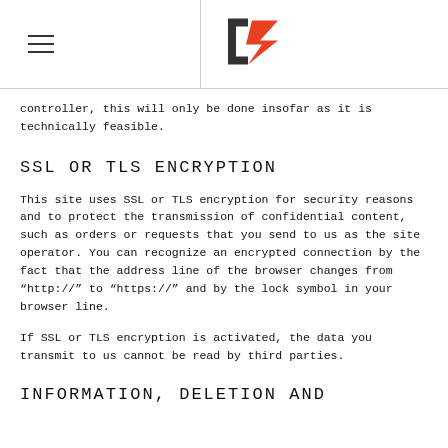[Logo and navigation header]
controller, this will only be done insofar as it is technically feasible.
SSL OR TLS ENCRYPTION
This site uses SSL or TLS encryption for security reasons and to protect the transmission of confidential content, such as orders or requests that you send to us as the site operator. You can recognize an encrypted connection by the fact that the address line of the browser changes from “http://” to “https://” and by the lock symbol in your browser line.
If SSL or TLS encryption is activated, the data you transmit to us cannot be read by third parties.
INFORMATION, DELETION AND